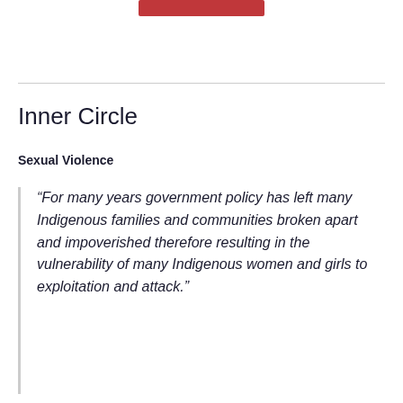[Figure (other): Red rectangular bar/button at top center of page]
Inner Circle
Sexual Violence
“For many years government policy has left many Indigenous families and communities broken apart and impoverished therefore resulting in the vulnerability of many Indigenous women and girls to exploitation and attack.”